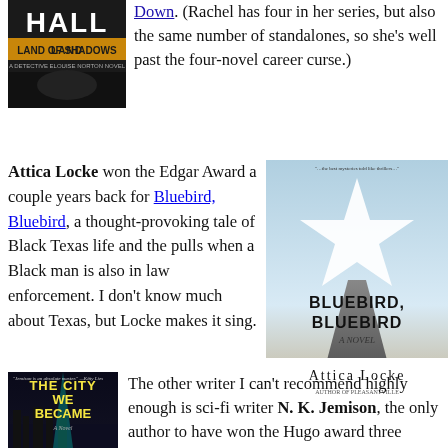[Figure (illustration): Book cover: Hall, Land of Shadows, A Detective Elouise Norton Novel]
Down. (Rachel has four in her series, but also the same number of standalones, so she's well past the four-novel career curse.)
Attica Locke won the Edgar Award a couple years back for Bluebird, Bluebird, a thought-provoking tale of Black Texas life and the pulls when a Black man is also in law enforcement. I don't know much about Texas, but Locke makes it sing.
[Figure (illustration): Book cover: Bluebird, Bluebird, A Novel by Attica Locke]
[Figure (illustration): Book cover: The City We Became, A Novel]
The other writer I can't recommend highly enough is sci-fi writer N. K. Jemison, the only author to have won the Hugo award three years